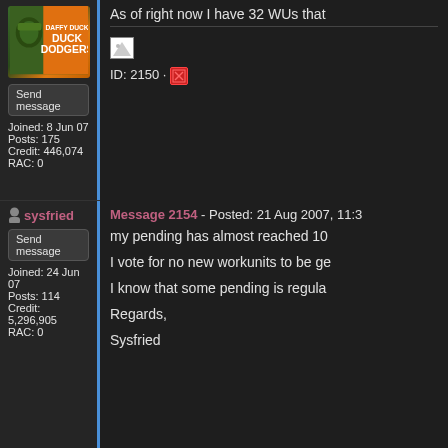[Figure (illustration): Avatar image showing Duck Dodgers cartoon character on orange background]
Send message
Joined: 8 Jun 07
Posts: 175
Credit: 446,074
RAC: 0
As of right now I have 32 WUs that
[Figure (illustration): Broken image placeholder]
ID: 2150 ·
sysfried
Message 2154 - Posted: 21 Aug 2007, 11:3
Send message
Joined: 24 Jun 07
Posts: 114
Credit: 5,296,905
RAC: 0
my pending has almost reached 10
I vote for no new workunits to be ge
I know that some pending is regula
Regards,
Sysfried